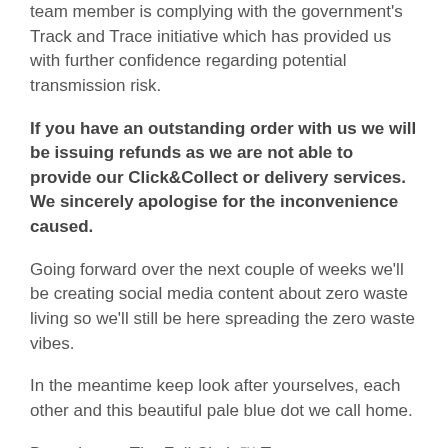team member is complying with the government's Track and Trace initiative which has provided us with further confidence regarding potential transmission risk.
If you have an outstanding order with us we will be issuing refunds as we are not able to provide our Click&Collect or delivery services. We sincerely apologise for the inconvenience caused.
Going forward over the next couple of weeks we'll be creating social media content about zero waste living so we'll still be here spreading the zero waste vibes.
In the meantime keep look after yourselves, each other and this beautiful pale blue dot we call home.
Best always, The Full Circle™ Team